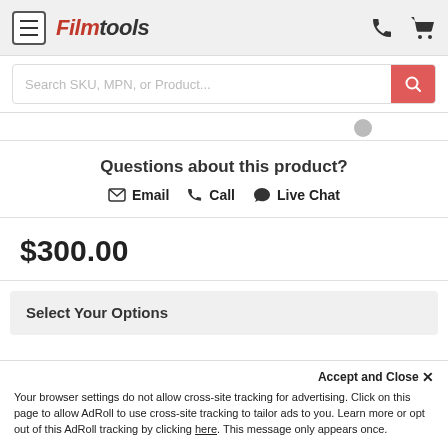Filmtools
Search SKU, MPN, or Product...
Questions about this product?
Email   Call   Live Chat
$300.00
Select Your Options
Accept and Close ×
Your browser settings do not allow cross-site tracking for advertising. Click on this page to allow AdRoll to use cross-site tracking to tailor ads to you. Learn more or opt out of this AdRoll tracking by clicking here. This message only appears once.